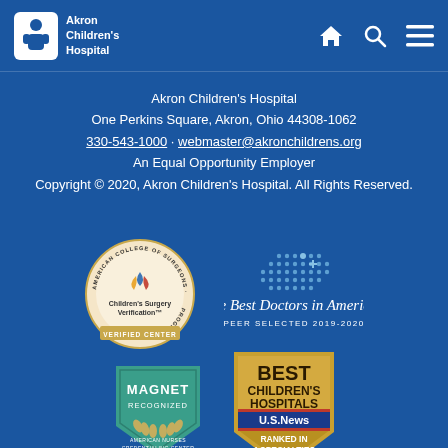Akron Children's Hospital - Navigation Header
Akron Children's Hospital
One Perkins Square, Akron, Ohio 44308-1062
330-543-1000 · webmaster@akronchildrens.org
An Equal Opportunity Employer
Copyright © 2020, Akron Children's Hospital. All Rights Reserved.
[Figure (logo): American College of Surgeons Quality Improvement Program - Children's Surgery Verification - Verified Center circular badge]
[Figure (logo): The Best Doctors in America - Peer Selected 2019-2020 badge with dot grid pattern]
[Figure (logo): Magnet Recognized - American Nurses Credentialing Center badge (teal pentagon shape)]
[Figure (logo): Best Children's Hospitals - U.S. News & World Report - Ranked in 4 Specialties 2021-22 gold shield badge]